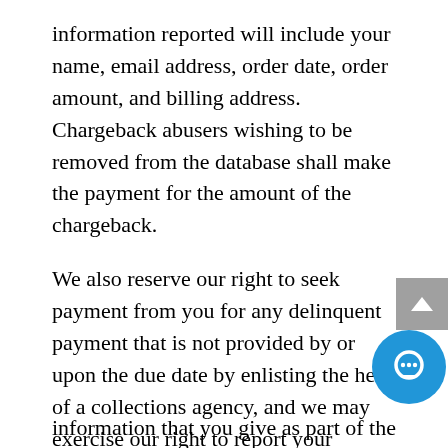information reported will include your name, email address, order date, order amount, and billing address. Chargeback abusers wishing to be removed from the database shall make the payment for the amount of the chargeback.
We also reserve our right to seek payment from you for any delinquent payment that is not provided by or upon the due date by enlisting the help of a collections agency, and we may exercise our right to report your delinquent payment to all three credit reporting agencies, either directly or through the help of a collections agency.
If you make a purchase from one of our affiliates, or any other individual or company through a link provided on or through our Programs, Products or Services (“Merchant”), all information obtained during your purchase or transaction and all of the information that you give as part of the